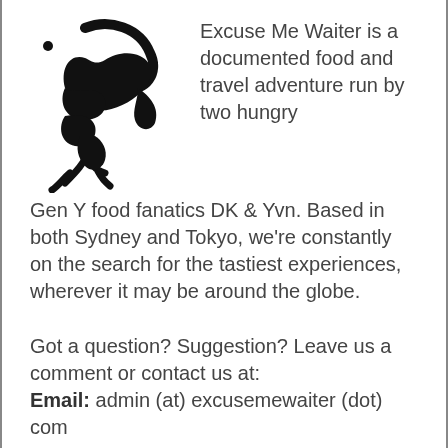[Figure (logo): Black silhouette logo of a goat/ram head facing right with curled horns and a small dot, used as the Excuse Me Waiter blog logo]
Excuse Me Waiter is a documented food and travel adventure run by two hungry Gen Y food fanatics DK & Yvn. Based in both Sydney and Tokyo, we're constantly on the search for the tastiest experiences, wherever it may be around the globe.
Got a question? Suggestion? Leave us a comment or contact us at:
Email: admin (at) excusemewaiter (dot) com